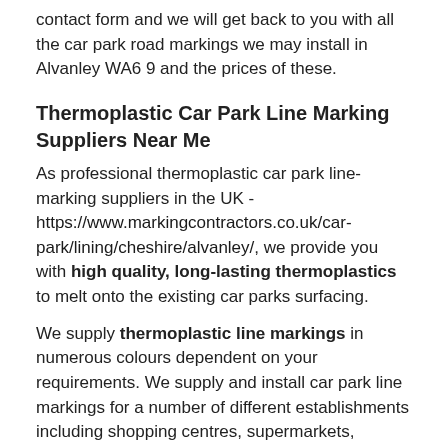contact form and we will get back to you with all the car park road markings we may install in Alvanley WA6 9 and the prices of these.
Thermoplastic Car Park Line Marking Suppliers Near Me
As professional thermoplastic car park line-marking suppliers in the UK - https://www.markingcontractors.co.uk/car-park/lining/cheshire/alvanley/, we provide you with high quality, long-lasting thermoplastics to melt onto the existing car parks surfacing.
We supply thermoplastic line markings in numerous colours dependent on your requirements. We supply and install car park line markings for a number of different establishments including shopping centres, supermarkets, schools and colleges.
We are able to meet up with any of your needs and requirements, so please speak to our staff if you've got any specific requests. Car park bay lines are a great way to prevent accidents and make the area look neater.